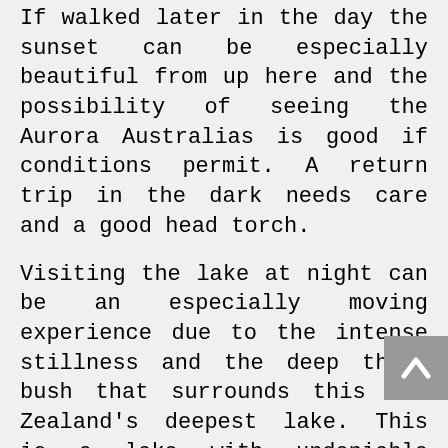If walked later in the day the sunset can be especially beautiful from up here and the possibility of seeing the Aurora Australias is good if conditions permit. A return trip in the dark needs care and a good head torch.
Visiting the lake at night can be an especially moving experience due to the intense stillness and the deep thick bush that surrounds this New Zealand's deepest lake. This is a lake with undeniable spiritual value.
If you take a strong light and a piece of meat many large